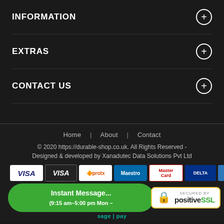INFORMATION
EXTRAS
CONTACT US
Home | About | Contact
© 2020 https://durable-shop.co.uk. All Rights Reserved - Designed & developed by Xanadutec Data Solutions Pvt Ltd
[Figure (other): Row of payment method logos: VISA (blue), VISA (white), ProTx, Maestro, MasterCard, Delta, American Express]
[Figure (other): Green pill banner: Instant Message... (9:15 am-5:00 pm Mon- ...). Secured by positive SSL badge. Triangle warning icon.]